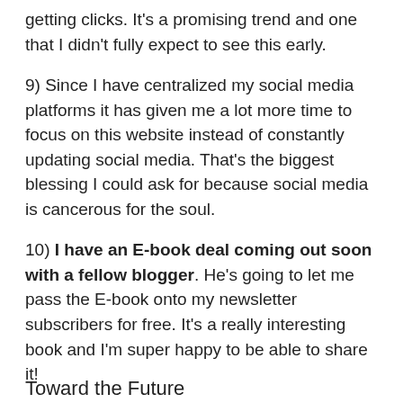getting clicks. It's a promising trend and one that I didn't fully expect to see this early.
9) Since I have centralized my social media platforms it has given me a lot more time to focus on this website instead of constantly updating social media. That's the biggest blessing I could ask for because social media is cancerous for the soul.
10) I have an E-book deal coming out soon with a fellow blogger. He's going to let me pass the E-book onto my newsletter subscribers for free. It's a really interesting book and I'm super happy to be able to share it!
Toward the Future